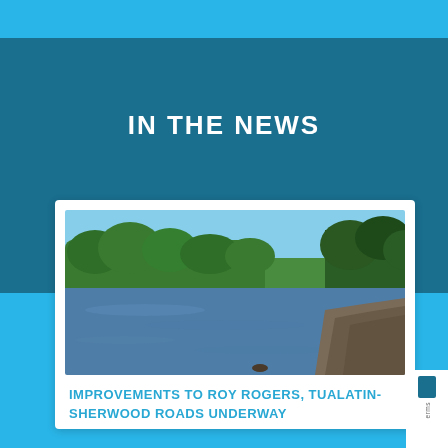IN THE NEWS
[Figure (photo): Aerial or ground-level photo of a river with green forested banks under a clear blue sky, with a sandy bank visible on the right side.]
IMPROVEMENTS TO ROY ROGERS, TUALATIN-SHERWOOD ROADS UNDERWAY